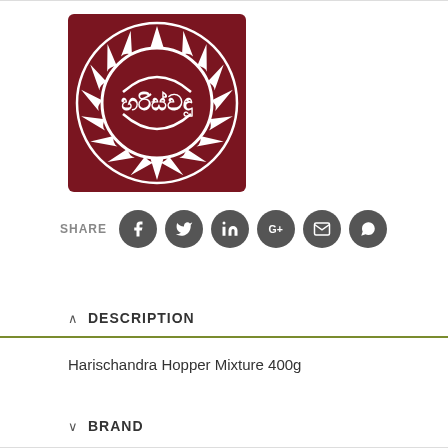[Figure (logo): Harischandra brand logo — dark red/maroon square background with a white circular emblem featuring radiating segments and Sinhala script text in the center reading 'හරිස්චන්ද්‍ර']
SHARE
[Figure (infographic): Social media share buttons: Facebook, Twitter, LinkedIn, Google+, Email, WhatsApp — all dark grey circles with white icons]
DESCRIPTION
Harischandra Hopper Mixture 400g
BRAND